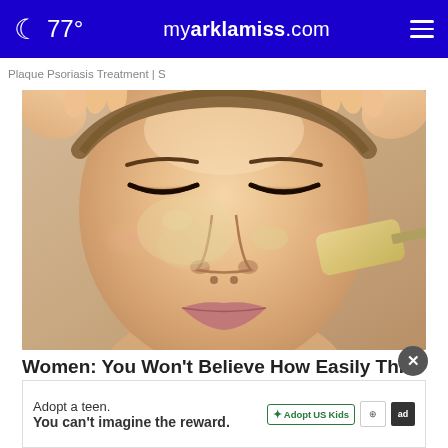77° myarklamiss.com
Plaque Psoriasis Treatment | S
[Figure (photo): Close-up photo of a woman with closed eyes receiving a facial treatment, with a spatula applying a gel-like substance to her cheek]
Women: You Won't Believe How Easily Thi... Ren...
RejuVarn
Adopt a teen. You can't imagine the reward.